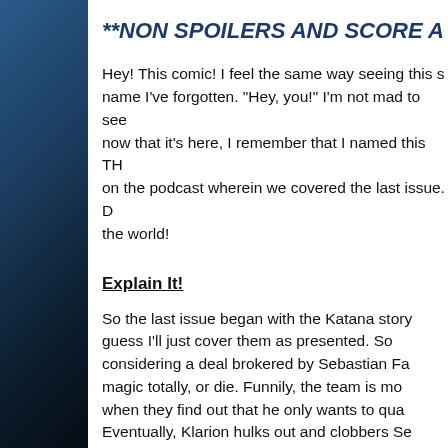**NON SPOILERS AND SCORE A
Hey! This comic! I feel the same way seeing this s... name I've forgotten. "Hey, you!" I'm not mad to see... now that it's here, I remember that I named this TH... on the podcast wherein we covered the last issue. D... the world!
Explain It!
So the last issue began with the Katana story... guess I'll just cover them as presented. So... considering a deal brokered by Sebastian Fa... magic totally, or die. Funnily, the team is mo... when they find out that he only wants to qua... Eventually, Klarion hulks out and clobbers Se... before Enchantress can teleport them out!